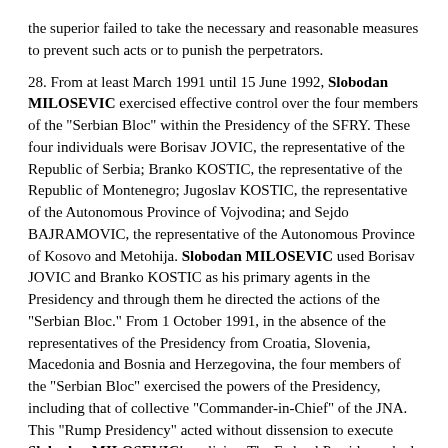the superior failed to take the necessary and reasonable measures to prevent such acts or to punish the perpetrators.
28. From at least March 1991 until 15 June 1992, Slobodan MILOSEVIC exercised effective control over the four members of the "Serbian Bloc" within the Presidency of the SFRY. These four individuals were Borisav JOVIC, the representative of the Republic of Serbia; Branko KOSTIC, the representative of the Republic of Montenegro; Jugoslav KOSTIC, the representative of the Autonomous Province of Vojvodina; and Sejdo BAJRAMOVIC, the representative of the Autonomous Province of Kosovo and Metohija. Slobodan MILOSEVIC used Borisav JOVIC and Branko KOSTIC as his primary agents in the Presidency and through them he directed the actions of the "Serbian Bloc." From 1 October 1991, in the absence of the representatives of the Presidency from Croatia, Slovenia, Macedonia and Bosnia and Herzegovina, the four members of the "Serbian Bloc" exercised the powers of the Presidency, including that of collective "Commander-in-Chief" of the JNA. This "Rump Presidency" acted without dissension to execute Slobodan MILOSEVIC's policies. The Federal Presidency had effective control over the JNA as its "Commander-in-Chief" and other units under the supervision of the JNA. Generals Veljko KADIJEVIC and Blagoje ADZIC, who directed and supervised the JNA forces in Bosnia and Herzegovina, were in constant communication and